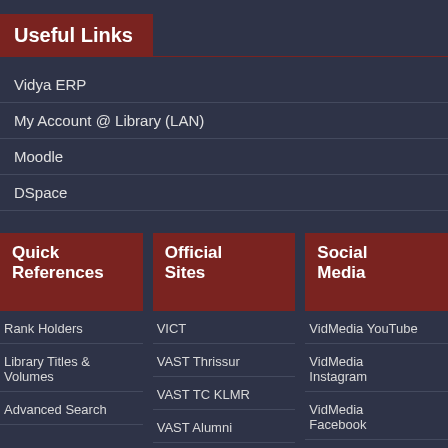Useful Links
Vidya ERP
My Account @ Library (LAN)
Moodle
DSpace
Quick References
Official Sites
Social Media
Rank Holders
Library Titles & Volumes
Advanced Search
VICT
VAST Thrissur
VAST TC KLMR
VAST Alumni
VidMedia YouTube
VidMedia Instagram
VidMedia Facebook